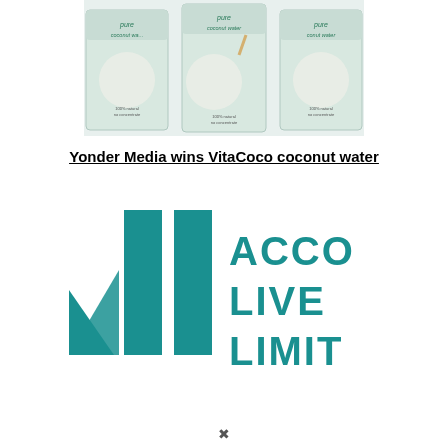[Figure (photo): Three VitaCoco pure coconut water carton packages arranged side by side]
Yonder Media wins VitaCoco coconut water
[Figure (logo): Accolive Limited logo with teal vertical bars and partial text ACCO LIVE LIMIT visible]